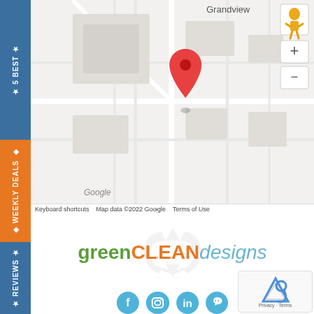[Figure (map): Google Maps screenshot showing Grandview area with a red location pin marker, street map with building outlines and roads, zoom controls (+/-) and street view person icon on the right side.]
Keyboard shortcuts   Map data ©2022 Google   Terms of Use
[Figure (logo): greenCLEAN designs logo with recycling arrows watermark in background. 'green' in green bold, 'CLEAN' in orange bold, 'designs' in light blue italic.]
[Figure (infographic): Social media icons: Facebook, Instagram, LinkedIn, Pinterest — all in teal/blue circular buttons.]
[Figure (infographic): Bottom section showing leaf/globe/hands icons in green and yellow, partially visible.]
[Figure (other): reCAPTCHA widget — Privacy · Terms text visible at bottom right.]